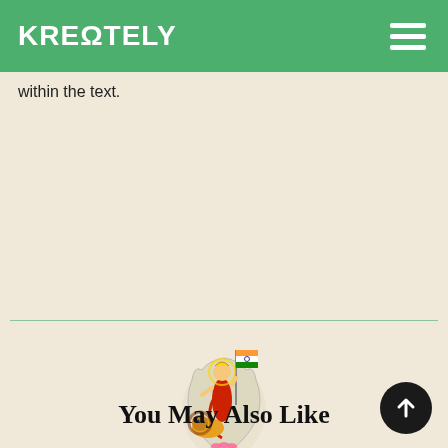KREΩTELY
within the text.
[Figure (illustration): Illustration of Bharata Mata (Mother India) goddess figure standing on the map of India, holding an Indian flag, with a lion beside her. Colorful traditional depiction.]
Rajendrachola
You May Also Like